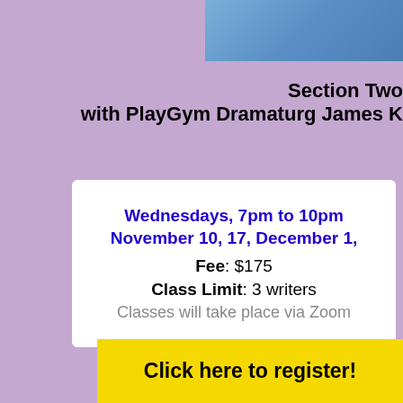[Figure (photo): Partial photo of a person wearing a denim shirt, cropped at top right of page]
Section Two
with PlayGym Dramaturg James K
Wednesdays, 7pm to 10pm
November 10, 17, December 1,
Fee: $175
Class Limit: 3 writers
Classes will take place via Zoom
Click here to register!